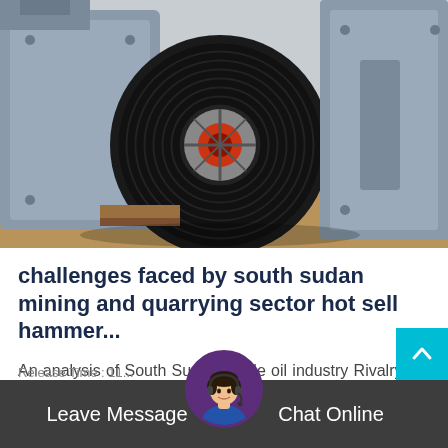[Figure (photo): Industrial hammer crusher machine with large black belt pulley and gray metal housing, photographed outdoors on sandy ground.]
challenges faced by south sudan mining and quarrying sector hot sell hammer...
An analysis of South Sudan edible oil industry Rivalry: 66 The cooking oil industry in South Sudan has a low concentration...
Release Time : 11...
Leave Message   Chat Online